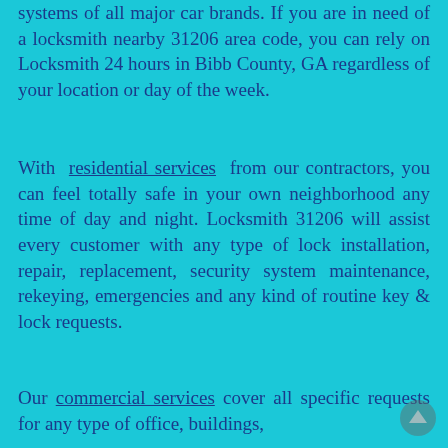systems of all major car brands. If you are in need of a locksmith nearby 31206 area code, you can rely on Locksmith 24 hours in Bibb County, GA regardless of your location or day of the week.
With residential services from our contractors, you can feel totally safe in your own neighborhood any time of day and night. Locksmith 31206 will assist every customer with any type of lock installation, repair, replacement, security system maintenance, rekeying, emergencies and any kind of routine key & lock requests.
Our commercial services cover all specific requests for any type of office, buildings,